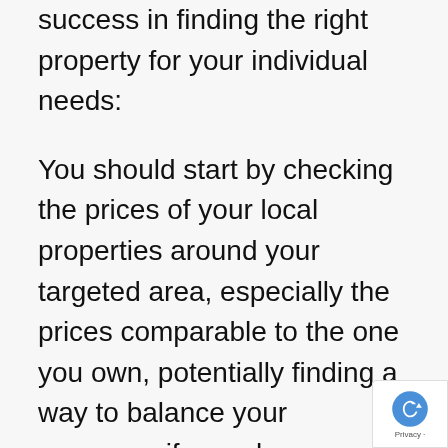success in finding the right property for your individual needs:
You should start by checking the prices of your local properties around your targeted area, especially the prices comparable to the one you own, potentially finding a way to balance your expenses if you plan on selling as well. There are quite a few websites that offer great services on finding listings, but you still need the help of a professional real estate agent to provide experience you will sorely need as a first-time buyer. They can give you